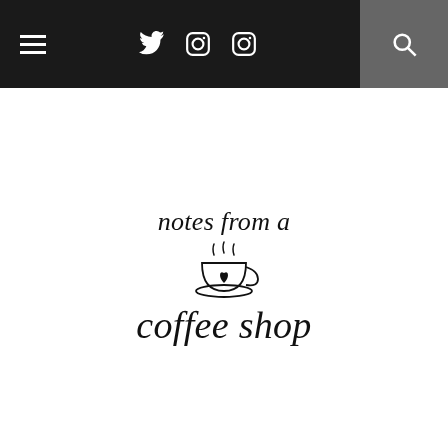≡  [Twitter] [Instagram] [Instagram]  [Search]
[Figure (logo): Blog logo: 'notes from a coffee shop' with a steaming coffee cup illustration in the center]
NEW YEAR'S EVE STRESS
SUNDAY, DECEMBER 31, 2017 / 8:58 AM
[Figure (photo): Featured image with grey background showing 'New Year' in large outlined purple/lavender bubble letters]